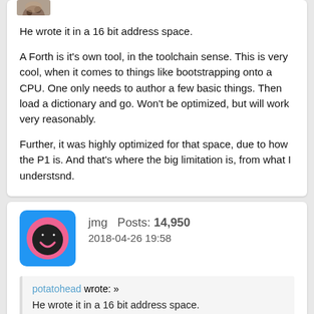[Figure (photo): Small user avatar image at top left, partially visible]
He wrote it in a 16 bit address space.
A Forth is it's own tool, in the toolchain sense. This is very cool, when it comes to things like bootstrapping onto a CPU. One only needs to author a few basic things. Then load a dictionary and go. Won't be optimized, but will work very reasonably.
Further, it was highly optimized for that space, due to how the P1 is. And that's where the big limitation is, from what I understsnd.
[Figure (illustration): User avatar for jmg: blue square with rounded corners, pink smiley face icon]
jmg  Posts: 14,950
2018-04-26 19:58
potatohead wrote: »
He wrote it in a 16 bit address space.